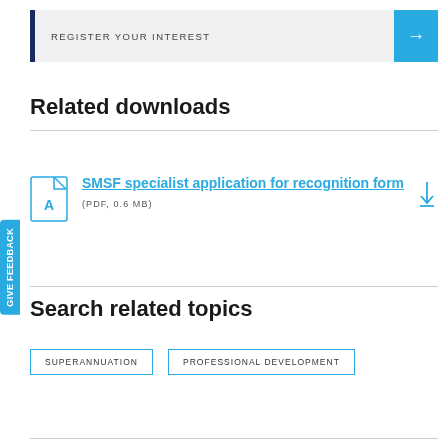REGISTER YOUR INTEREST →
Related downloads
SMSF specialist application for recognition form
(PDF, 0.6 MB)
Search related topics
SUPERANNUATION
PROFESSIONAL DEVELOPMENT